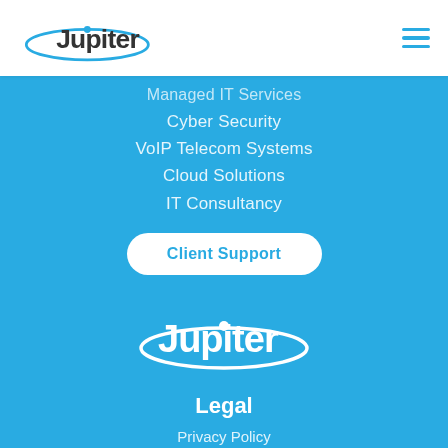[Figure (logo): Jupiter IT logo in header - dark text 'Jupiter' with blue ellipse orbit graphic]
Managed IT Services
Cyber Security
VoIP Telecom Systems
Cloud Solutions
IT Consultancy
Client Support
[Figure (logo): Jupiter IT logo in white on blue background - 'Jupiter' text with white ellipse orbit graphic]
Legal
Privacy Policy